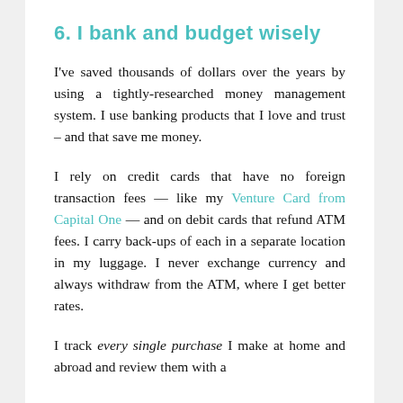6. I bank and budget wisely
I've saved thousands of dollars over the years by using a tightly-researched money management system. I use banking products that I love and trust – and that save me money.
I rely on credit cards that have no foreign transaction fees — like my Venture Card from Capital One — and on debit cards that refund ATM fees. I carry back-ups of each in a separate location in my luggage. I never exchange currency and always withdraw from the ATM, where I get better rates.
I track every single purchase I make at home and abroad and review them with a